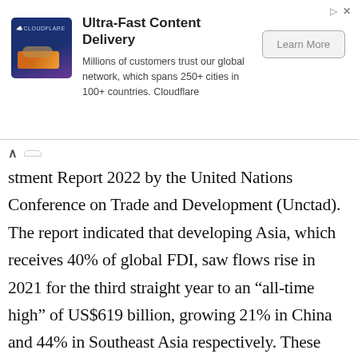[Figure (other): Cloudflare advertisement banner with logo, headline 'Ultra-Fast Content Delivery', description text, and 'Learn More' button]
estment Report 2022 by the United Nations Conference on Trade and Development (Unctad). The report indicated that developing Asia, which receives 40% of global FDI, saw flows rise in 2021 for the third straight year to an “all-time high” of US$619 billion, growing 21% in China and 44% in Southeast Asia respectively. These findings corroborate the strong investment flows witnessed in Malaysia in 2021. The country’s economy, despite being affected by a pandemic-induced recession, benefitted tremendously from a record level of approved investments totalling